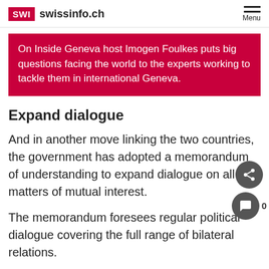SWI swissinfo.ch Menu
On Inside Geneva host Imogen Foulkes puts big questions facing the world to the experts working to tackle them in international Geneva.
Expand dialogue
And in another move linking the two countries, the government has adopted a memorandum of understanding to expand dialogue on all matters of mutual interest.
The memorandum foresees regular political dialogue covering the full range of bilateral relations.